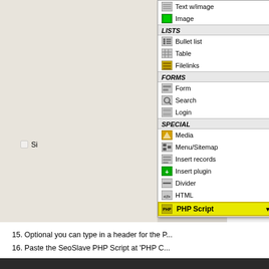[Figure (screenshot): CMS content element type dropdown menu showing categories: LISTS (Bullet list, Table, Filelinks), FORMS (Form, Search, Login), SPECIAL (Media, Menu/Sitemap, Insert records, Insert plugin, Divider, HTML, PHP Script highlighted in yellow)]
15. Optional you can type in a header for the P...
16. Paste the SeoSlave PHP Script at 'PHP C...
17. Click on 'save document'